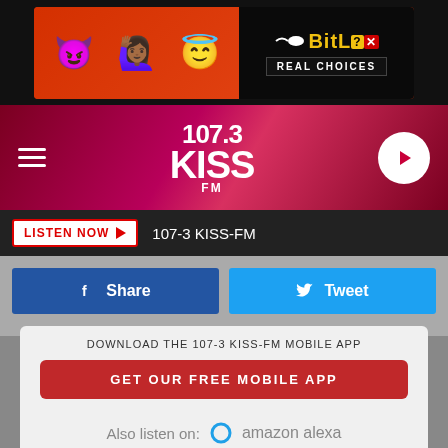[Figure (screenshot): BitLife advertisement banner with emojis and 'REAL CHOICES' text]
[Figure (logo): 107.3 KISS FM radio station header with hamburger menu and play button]
LISTEN NOW ▶  107-3 KISS-FM
Share
Tweet
DOWNLOAD THE 107-3 KISS-FM MOBILE APP
GET OUR FREE MOBILE APP
Also listen on:  amazon alexa